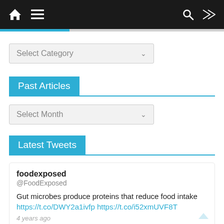Navigation bar with home, menu, search, and shuffle icons
[Figure (screenshot): Blue top progress/tab bar]
[Figure (screenshot): Select Category dropdown]
Past Articles
[Figure (screenshot): Select Month dropdown]
Latest Tweets
foodexposed @FoodExposed
Gut microbes produce proteins that reduce food intake https://t.co/DWY2a1ivfp https://t.co/i52xmUVF8T
4 years ago
foodexposed